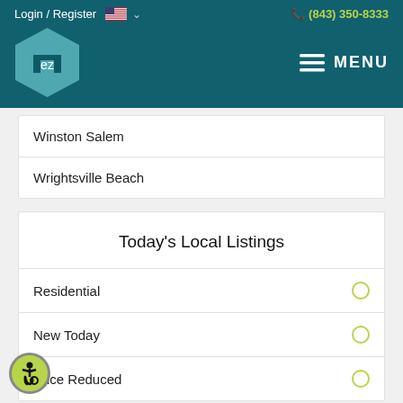Login / Register  (843) 350-8333  MENU
Winston Salem
Wrightsville Beach
Today's Local Listings
Residential
New Today
Price Reduced